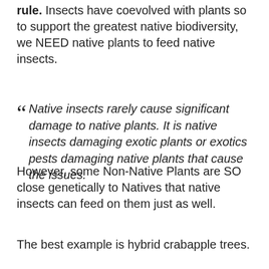rule. Insects have coevolved with plants so to support the greatest native biodiversity, we NEED native plants to feed native insects.
" Native insects rarely cause significant damage to native plants. It is native insects damaging exotic plants or exotics pests damaging native plants that cause the issues.
However, some Non-Native Plants are SO close genetically to Natives that native insects can feed on them just as well.
The best example is hybrid crabapple trees.